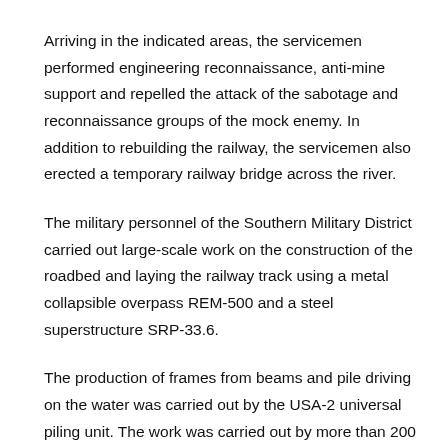Arriving in the indicated areas, the servicemen performed engineering reconnaissance, anti-mine support and repelled the attack of the sabotage and reconnaissance groups of the mock enemy. In addition to rebuilding the railway, the servicemen also erected a temporary railway bridge across the river.
The military personnel of the Southern Military District carried out large-scale work on the construction of the roadbed and laying the railway track using a metal collapsible overpass REM-500 and a steel superstructure SRP-33.6.
The production of frames from beams and pile driving on the water was carried out by the USA-2 universal piling unit. The work was carried out by more than 200 specialists from the Southern Military District.